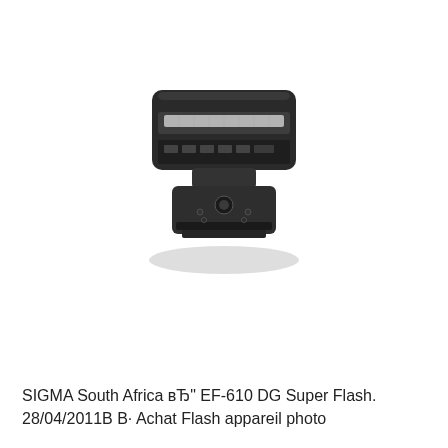[Figure (photo): Top-down view of a Sigma EF-610 DG Super Flash unit, showing the flash head, control panel, and hot shoe mount foot, in dark/black color on a white background.]
SIGMA South Africa вЂ" EF-610 DG Super Flash. 28/04/2011В В· Achat Flash appareil photo